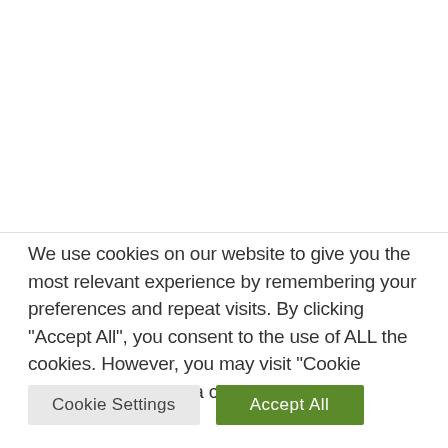We use cookies on our website to give you the most relevant experience by remembering your preferences and repeat visits. By clicking “Accept All”, you consent to the use of ALL the cookies. However, you may visit “Cookie Settings” to provide a controlled consent.
Cookie Settings
Accept All